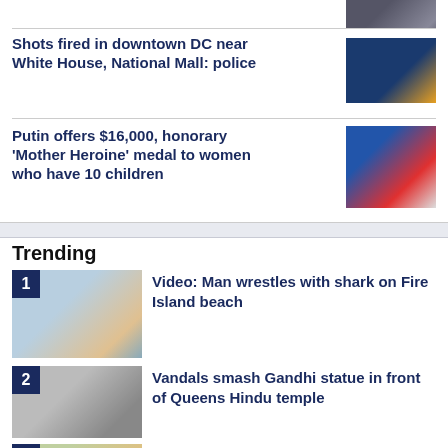[Figure (photo): Partial thumbnail image at top right, cropped]
Shots fired in downtown DC near White House, National Mall: police
[Figure (photo): Night scene with police lights near Washington DC]
Putin offers $16,000, honorary 'Mother Heroine' medal to women who have 10 children
[Figure (photo): Putin smiling at an event, medal visible]
Trending
1  Video: Man wrestles with shark on Fire Island beach
[Figure (photo): Man on beach with shark]
2  Vandals smash Gandhi statue in front of Queens Hindu temple
[Figure (photo): Smashed statue on ground]
3  Cost of raising a child jumps to over
[Figure (photo): Crowd of children]